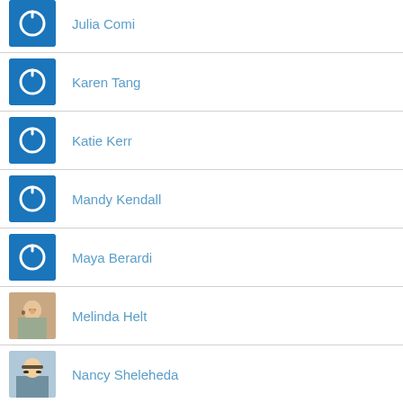Julia Comi
Karen Tang
Katie Kerr
Mandy Kendall
Maya Berardi
Melinda Helt
Nancy Sheleheda
Rita Johnson
Sara Zullo
Savanah Buhite